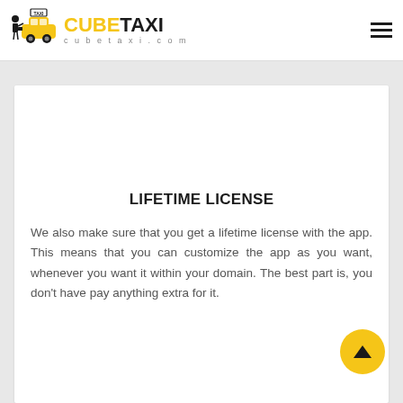CUBETAXI cubetaxi.com
LIFETIME LICENSE
We also make sure that you get a lifetime license with the app. This means that you can customize the app as you want, whenever you want it within your domain. The best part is, you don’t have pay anything extra for it.